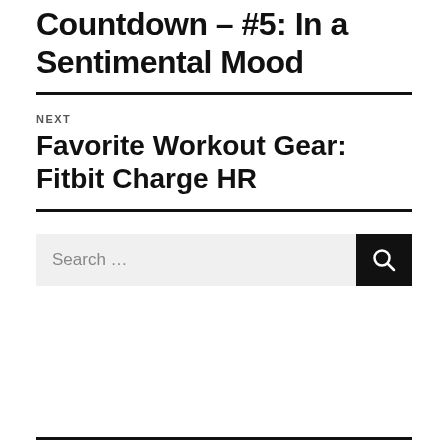Countdown – #5: In a Sentimental Mood
NEXT
Favorite Workout Gear: Fitbit Charge HR
Search …